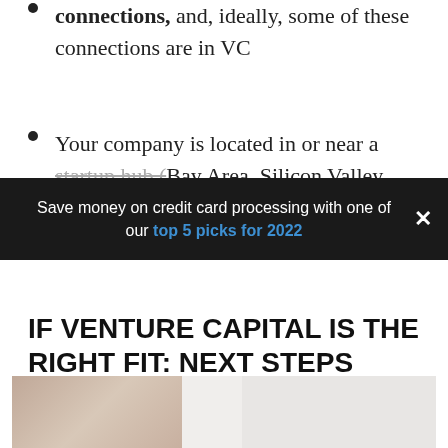connections, and, ideally, some of these connections are in VC
Your company is located in or near a major startup hub (Bay Area, Silicon Valley, LA, NYC, etc.)
Save money on credit card processing with one of our top 5 picks for 2022
IF VENTURE CAPITAL IS THE RIGHT FIT: NEXT STEPS
Do you fit the above criteria? Here's what the process of obtaining venture capital might look like for you.
[Figure (photo): Photo of a person in business attire, partially visible at the bottom of the page]